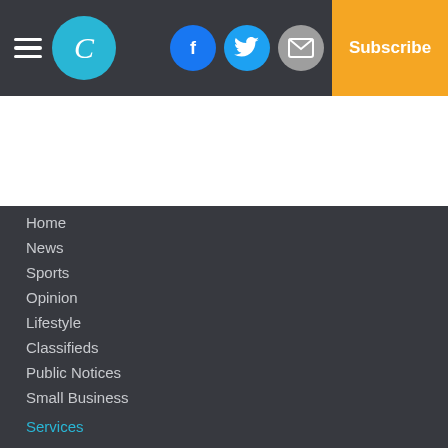Charlotte Gazette header navigation bar with logo, social icons, and Subscribe button
Home
News
Sports
Opinion
Lifestyle
Classifieds
Public Notices
Small Business
Services
About Us
Terms of Use
Subscribe
Copyright
© 2022, The Charlotte Gazette